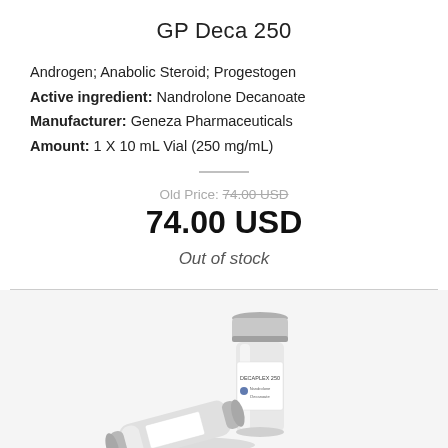GP Deca 250
Androgen; Anabolic Steroid; Progestogen
Active ingredient: Nandrolone Decanoate
Manufacturer: Geneza Pharmaceuticals
Amount: 1 X 10 mL Vial (250 mg/mL)
Old Price: 74.00 USD
74.00 USD
Out of stock
[Figure (photo): Two pharmaceutical vials, one upright labeled DECAPLEX 250 and one lying on its side, both with silver metallic caps and white labels]